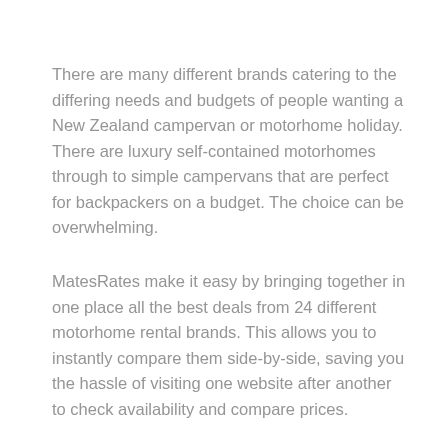There are many different brands catering to the differing needs and budgets of people wanting a New Zealand campervan or motorhome holiday. There are luxury self-contained motorhomes through to simple campervans that are perfect for backpackers on a budget. The choice can be overwhelming.
MatesRates make it easy by bringing together in one place all the best deals from 24 different motorhome rental brands. This allows you to instantly compare them side-by-side, saving you the hassle of visiting one website after another to check availability and compare prices.